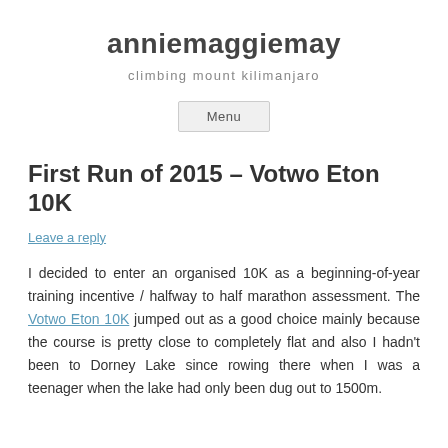anniemaggiemay
climbing mount kilimanjaro
Menu
First Run of 2015 – Votwo Eton 10K
Leave a reply
I decided to enter an organised 10K as a beginning-of-year training incentive / halfway to half marathon assessment. The Votwo Eton 10K jumped out as a good choice mainly because the course is pretty close to completely flat and also I hadn't been to Dorney Lake since rowing there when I was a teenager when the lake had only been dug out to 1500m.